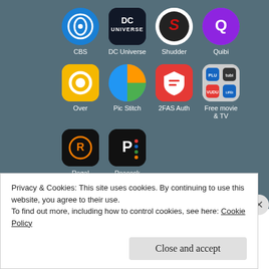[Figure (screenshot): Android phone home screen showing app icons: CBS, DC Universe, Shudder, Quibi (row 1); Over, Pic Stitch, 2FAS Auth, Free movie & TV (row 2); Regal, Peacock (row 3, partial)]
Privacy & Cookies: This site uses cookies. By continuing to use this website, you agree to their use.
To find out more, including how to control cookies, see here: Cookie Policy
Close and accept